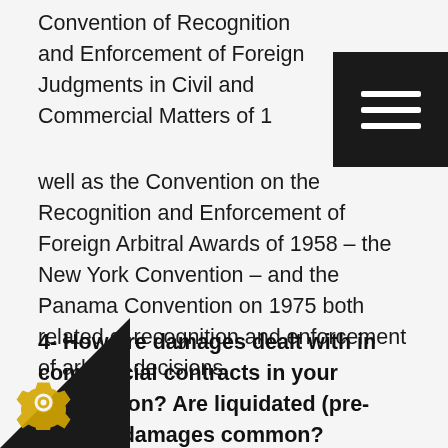Convention of Recognition and Enforcement of Foreign Judgments in Civil and Commercial Matters of 1… well as the Convention on the Recognition and Enforcement of Foreign Arbitral Awards of 1958 – the New York Convention – and the Panama Convention on 1975 both related of recognition and enforcement of arbitral decisions.
4- How are damages dealt with in commercial contracts in your jurisdiction? Are liquidated (pre-agreed) damages common?
Normally, damages are included in commercial contracts as penalty clauses. Nonetheless, depending the matter disputed, and the damages caused by …who breached the contract or that incurred in…